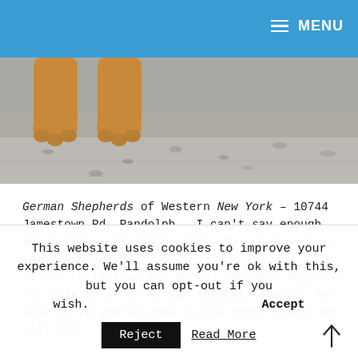MENU
[Figure (photo): Dog paws resting on gravel ground, cropped close-up showing two golden/tan paws on gray gravelly surface]
German Shepherds of Western New York - 10744 Jamestown Rd, Randolph,. I can't say enough about the Lynns and how they love and nurture their puppies.
If you're looking for German Shepherd puppies for sale in NY or German Shepherd puppies for sale in VA you've come to the right place. We sell GSD
This website uses cookies to improve your experience. We'll assume you're ok with this, but you can opt-out if you wish.
Accept
Reject
Read More